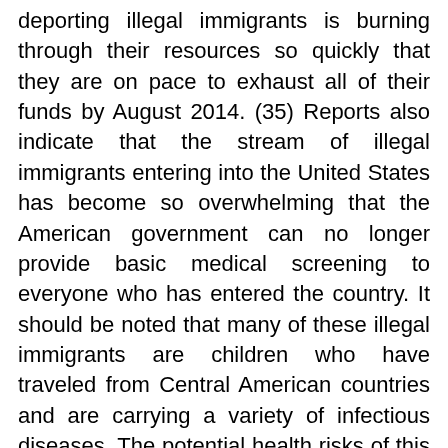deporting illegal immigrants is burning through their resources so quickly that they are on pace to exhaust all of their funds by August 2014. (35) Reports also indicate that the stream of illegal immigrants entering into the United States has become so overwhelming that the American government can no longer provide basic medical screening to everyone who has entered the country. It should be noted that many of these illegal immigrants are children who have traveled from Central American countries and are carrying a variety of infectious diseases. The potential health risks of this crisis have sparked concern among those who are close to the situation. “We’ve already had one confirmed case of H1N1 (swine flu) in Texas, and have been informed by our federal partners of two additional cases of type A influenza that are likely to be H1N1, in addition to reports of other illnesses at other detention facilities,” said Texas Governor Rick Perry. (36) In response to the crisis, Governor Perry has announced that he